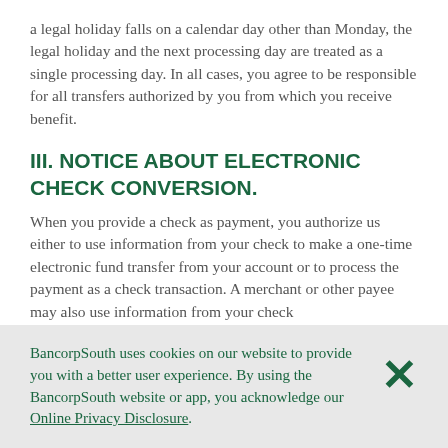a legal holiday falls on a calendar day other than Monday, the legal holiday and the next processing day are treated as a single processing day. In all cases, you agree to be responsible for all transfers authorized by you from which you receive benefit.
III. NOTICE ABOUT ELECTRONIC CHECK CONVERSION.
When you provide a check as payment, you authorize us either to use information from your check to make a one-time electronic fund transfer from your account or to process the payment as a check transaction. A merchant or other payee may also use information from your check
BancorpSouth uses cookies on our website to provide you with a better user experience. By using the BancorpSouth website or app, you acknowledge our Online Privacy Disclosure.